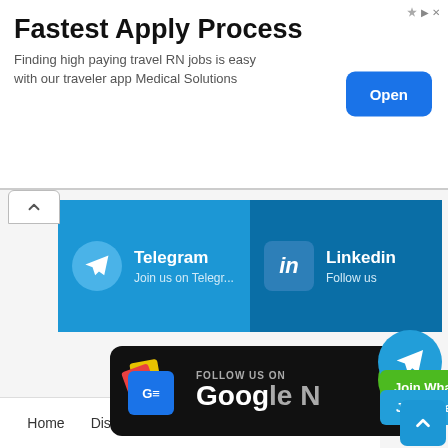[Figure (infographic): Advertisement banner: 'Fastest Apply Process - Finding high paying travel RN jobs is easy with our traveler app Medical Solutions' with a blue 'Open' button]
[Figure (infographic): Social media bar with Telegram 'Join us on Telegr...' and LinkedIn 'Follow us' sections in blue]
[Figure (infographic): Google News follow banner on black background with Google News icon and text 'FOLLOW US ON Google N...']
[Figure (infographic): Green 'Join WhatsApp' button with WhatsApp circle icon]
[Figure (infographic): Blue 'Join Telegram' button with Telegram circle icon]
Home   Disclaimer   Privacy Policy   About Us